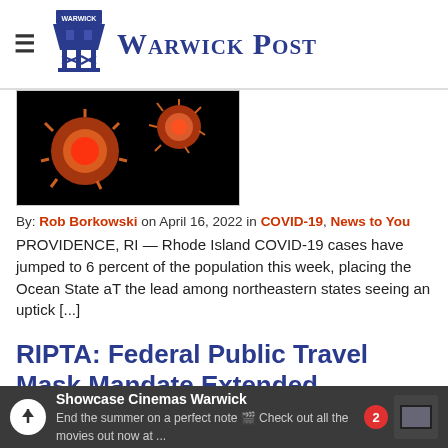Warwick Post
[Figure (photo): Microscope image of coronavirus particles (red/orange on black background)]
By: Rob Borkowski on April 16, 2022 in COVID-19, News to You
PROVIDENCE, RI — Rhode Island COVID-19 cases have jumped to 6 percent of the population this week, placing the Ocean State aT the lead among northeastern states seeing an uptick [...]
RIPTA: Federal Public Travel Mask Mandate Extended
[Figure (photo): Partial image of second article — teal/blue circular shape visible at bottom]
Showcase Cinemas Warwick — End the summer on a perfect note 🎬 Check out all the movies out now at ...